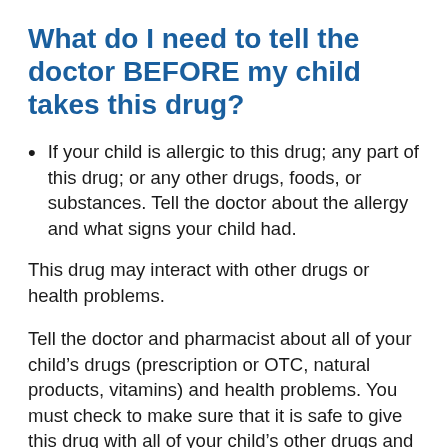What do I need to tell the doctor BEFORE my child takes this drug?
If your child is allergic to this drug; any part of this drug; or any other drugs, foods, or substances. Tell the doctor about the allergy and what signs your child had.
This drug may interact with other drugs or health problems.
Tell the doctor and pharmacist about all of your child’s drugs (prescription or OTC, natural products, vitamins) and health problems. You must check to make sure that it is safe to give this drug with all of your child’s other drugs and health problems. Do not start, stop, or change the dose of any drug your child takes without checking